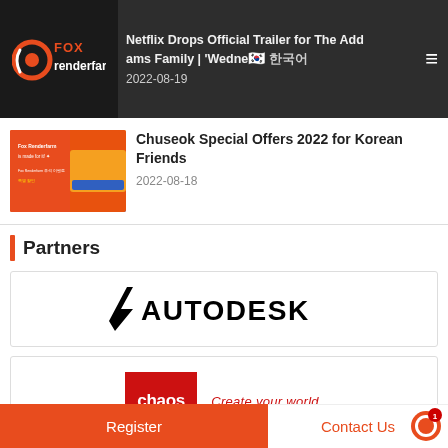Fox Renderfarm — Netflix Drops Official Trailer for The Addams Family | 'Wednesday' 한국어 2022-08-19
[Figure (logo): Fox Renderfarm logo — orange circle with fox icon and FOX renderfarm text]
Netflix Drops Official Trailer for The Addams Family | 'Wednesday' 한국어
2022-08-19
[Figure (photo): Thumbnail image for Chuseok Special Offers 2022 for Korean Friends — orange/red promotional graphic]
Chuseok Special Offers 2022 for Korean Friends
2022-08-18
Partners
[Figure (logo): Autodesk logo — black arrow icon followed by AUTODESK text in bold black capital letters]
[Figure (logo): Chaos logo — red square with white 'chaos' text and red 'Create your world.' tagline]
Register | Contact Us